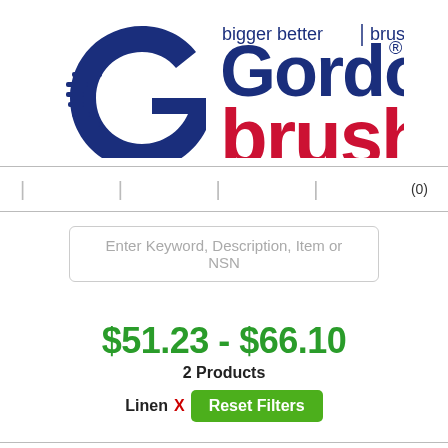[Figure (logo): Gordon Brush logo with tagline 'bigger better brush ideas'. Blue stylized G icon with horizontal lines, 'Gordon' in dark navy, 'brush' in red.]
| | | | (0)
Enter Keyword, Description, Item or NSN
$51.23 - $66.10
2 Products
Linen X  Reset Filters
Home » Synthetic Bristle Brushes » Abrasives & Buffs » Buffs